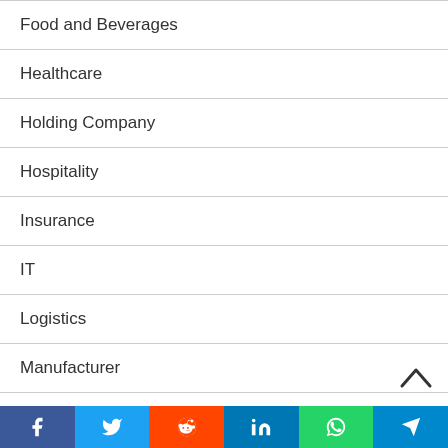Food and Beverages
Healthcare
Holding Company
Hospitality
Insurance
IT
Logistics
Manufacturer
Media